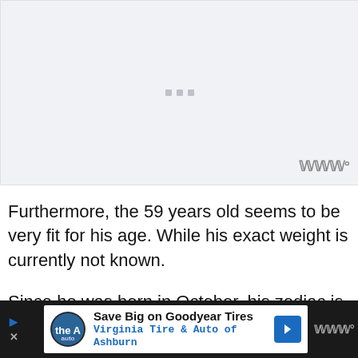[Figure (other): Advertisement placeholder with three gray dots centered on a light gray background, with a logo watermark in the bottom right corner.]
Furthermore, the 59 years old seems to be very fit for his age. While his exact weight is currently not known.
Since he was born in October, his zodiac is
[Figure (other): Advertisement banner at the bottom: 'Save Big on Goodyear Tires — Virginia Tire & Auto of Ashburn' with auto logo and blue directional arrow icon on dark background.]